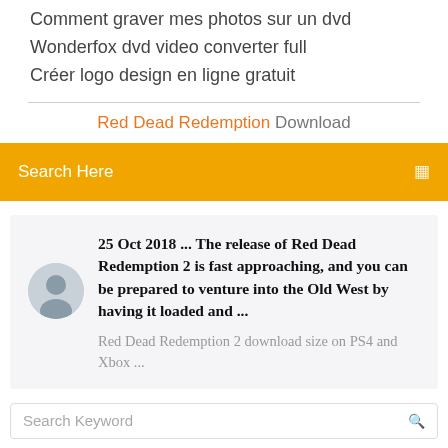Comment graver mes photos sur un dvd
Wonderfox dvd video converter full
Créer logo design en ligne gratuit
Red Dead Redemption Download
Search Here
25 Oct 2018 ... The release of Red Dead Redemption 2 is fast approaching, and you can be prepared to venture into the Old West by having it loaded and ...
Red Dead Redemption 2 download size on PS4 and Xbox ...
Search Keyword